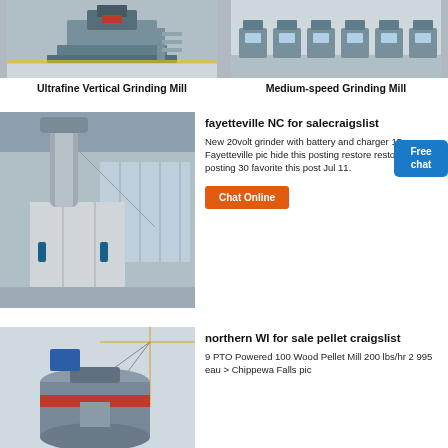[Figure (photo): Ultrafine vertical grinding mill industrial equipment]
Ultrafine Vertical Grinding Mill
[Figure (photo): Medium-speed grinding mill industrial equipment row]
Medium-speed Grinding Mill
[Figure (photo): Large industrial grinding mill in factory building]
fayetteville NC for salecraigslist
New 20volt grinder with battery and charger 15 Fayetteville pic hide this posting restore restore this posting 30 favorite this post Jul 11.
[Figure (photo): Large industrial pellet mill being hoisted by crane]
northern WI for sale pellet craigslist
9 PTO Powered 100 Wood Pellet Mill 200 lbs/hr 2 995 eau > Chippewa Falls pic